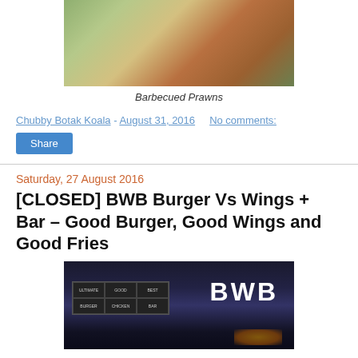[Figure (photo): Photo of Barbecued Prawns on a white plate with purple flower garnish and lettuce]
Barbecued Prawns
Chubby Botak Koala - August 31, 2016    No comments:
Share
Saturday, 27 August 2016
[CLOSED] BWB Burger Vs Wings + Bar – Good Burger, Good Wings and Good Fries
[Figure (photo): Photo of BWB Burger Vs Wings + Bar restaurant exterior at night with large BWB sign illuminated]